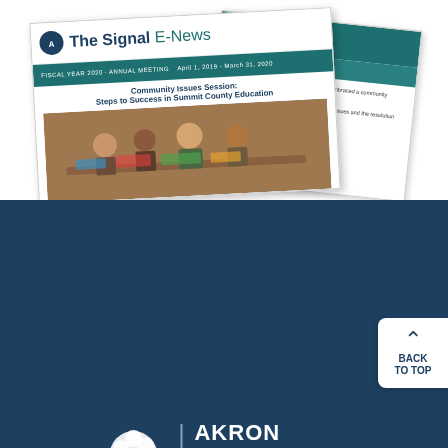[Figure (photo): Two overlapping newsletter pages titled 'The Signal E-News' with teal headers and article about Community Issues Session on Steps to Success in Summit County Education]
[Figure (logo): Akron Community Foundation logo — white tree illustration next to text 'AKRON COMMUNITY FOUNDATION / ENRICHING LIVES SINCE 1955' on dark teal background]
Contact Us
Akron Community Foundation
345 West Cedar Street
Akron,  OH 44307
Phone:  330-376-8522